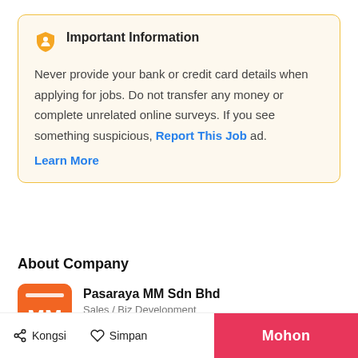Important Information
Never provide your bank or credit card details when applying for jobs. Do not transfer any money or complete unrelated online surveys. If you see something suspicious, Report This Job ad.
Learn More
About Company
[Figure (logo): Pasaraya MM Sdn Bhd orange logo with white MM letters]
Pasaraya MM Sdn Bhd
Sales / Biz Development
Lihat Syarikat ▶
Kongsi   Simpan   Mohon